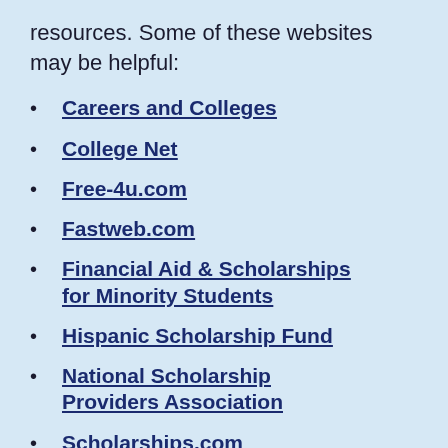resources. Some of these websites may be helpful:
Careers and Colleges
College Net
Free-4u.com
Fastweb.com
Financial Aid & Scholarships for Minority Students
Hispanic Scholarship Fund
National Scholarship Providers Association
Scholarships.com